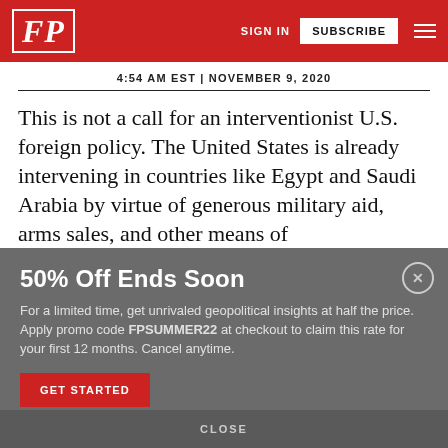FP | SIGN IN | SUBSCRIBE
4:54 AM EST | NOVEMBER 9, 2020
This is not a call for an interventionist U.S. foreign policy. The United States is already intervening in countries like Egypt and Saudi Arabia by virtue of generous military aid, arms sales, and other means of
50% Off Ends Soon
For a limited time, get unrivaled geopolitical insights at half the price. Apply promo code FPSUMMER22 at checkout to claim this rate for your first 12 months. Cancel anytime.
GET STARTED
CLOSE